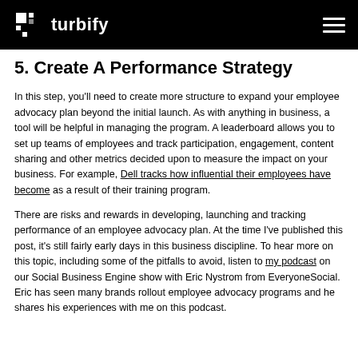turbify
5. Create A Performance Strategy
In this step, you'll need to create more structure to expand your employee advocacy plan beyond the initial launch. As with anything in business, a tool will be helpful in managing the program. A leaderboard allows you to set up teams of employees and track participation, engagement, content sharing and other metrics decided upon to measure the impact on your business. For example, Dell tracks how influential their employees have become as a result of their training program.
There are risks and rewards in developing, launching and tracking performance of an employee advocacy plan. At the time I've published this post, it's still fairly early days in this business discipline. To hear more on this topic, including some of the pitfalls to avoid, listen to my podcast on our Social Business Engine show with Eric Nystrom from EveryoneSocial. Eric has seen many brands rollout employee advocacy programs and he shares his experiences with me on this podcast.